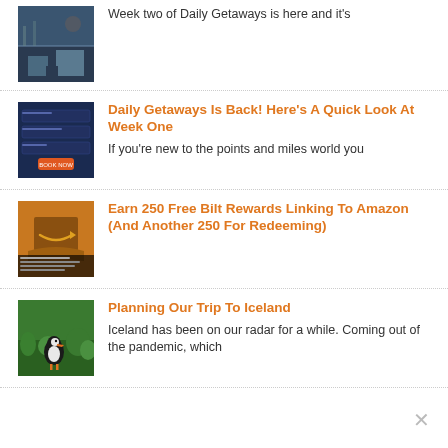[Figure (photo): Thumbnail image of a dark rainy street scene, blog article preview]
Week two of Daily Getaways is here and it's
[Figure (screenshot): Thumbnail screenshot of a travel deals app/website with dark background and orange buttons]
Daily Getaways Is Back! Here's A Quick Look At Week One
If you're new to the points and miles world you
[Figure (photo): Thumbnail of an Amazon box on orange/brown background with Bilt rewards text overlay]
Earn 250 Free Bilt Rewards Linking To Amazon (And Another 250 For Redeeming)
[Figure (photo): Thumbnail photo of a puffin bird standing in green grass, Iceland travel article]
Planning Our Trip To Iceland
Iceland has been on our radar for a while. Coming out of the pandemic, which